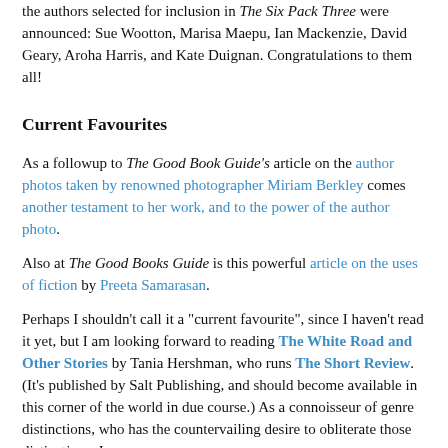the authors selected for inclusion in The Six Pack Three were announced: Sue Wootton, Marisa Maepu, Ian Mackenzie, David Geary, Aroha Harris, and Kate Duignan. Congratulations to them all!
Current Favourites
As a followup to The Good Book Guide's article on the author photos taken by renowned photographer Miriam Berkley comes another testament to her work, and to the power of the author photo.
Also at The Good Books Guide is this powerful article on the uses of fiction by Preeta Samarasan.
Perhaps I shouldn't call it a "current favourite", since I haven't read it yet, but I am looking forward to reading The White Road and Other Stories by Tania Hershman, who runs The Short Review. (It's published by Salt Publishing, and should become available in this corner of the world in due course.) As a connoisseur of genre distinctions, who has the countervailing desire to obliterate those distinctions, I am especially intrigued by the distinctions between...